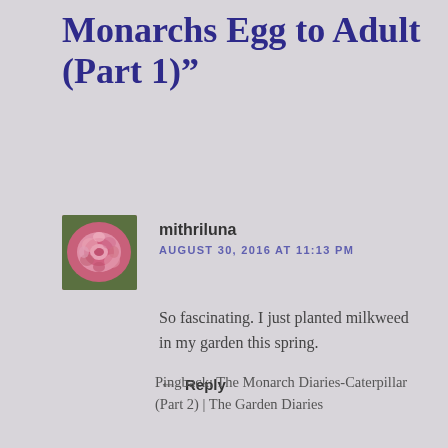Monarchs Egg to Adult (Part 1)”
[Figure (photo): Avatar photo of a pink flower (carnation/rose) against green background, used as commenter profile picture]
mithriluna
AUGUST 30, 2016 AT 11:13 PM
So fascinating. I just planted milkweed in my garden this spring.
Reply
Pingback: The Monarch Diaries-Caterpillar (Part 2) | The Garden Diaries